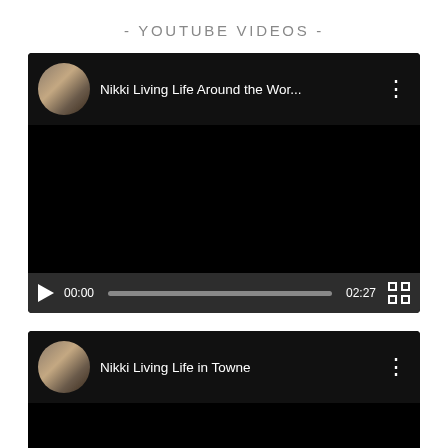- YOUTUBE VIDEOS -
[Figure (screenshot): YouTube video player showing 'Nikki Living Life Around the Wor...' with play button, progress bar showing 00:00 / 02:27, and fullscreen button]
[Figure (screenshot): YouTube video player showing 'Nikki Living Life in Towne' with channel avatar, partially visible, video area black]